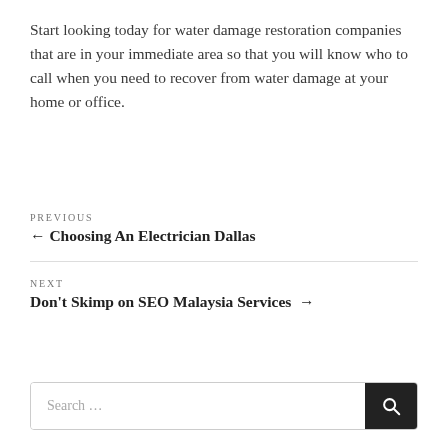Start looking today for water damage restoration companies that are in your immediate area so that you will know who to call when you need to recover from water damage at your home or office.
PREVIOUS
← Choosing An Electrician Dallas
NEXT
Don't Skimp on SEO Malaysia Services →
Search …